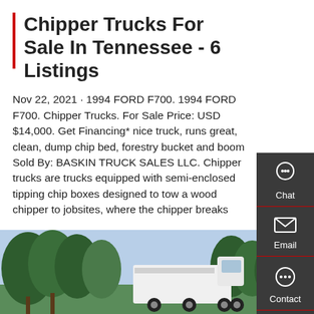Chipper Trucks For Sale In Tennessee - 6 Listings
Nov 22, 2021 · 1994 FORD F700. 1994 FORD F700. Chipper Trucks. For Sale Price: USD $14,000. Get Financing* nice truck, runs great, clean, dump chip bed, forestry bucket and boom Sold By: BASKIN TRUCK SALES LLC. Chipper trucks are trucks equipped with semi-enclosed tipping chip boxes designed to tow a wood chipper to jobsites, where the chipper breaks
[Figure (other): Red 'Get a Quote' button]
[Figure (photo): Photo of a white truck with trees in background]
[Figure (other): Side panel with Chat, Email, Contact, and Top icons on dark gray background]